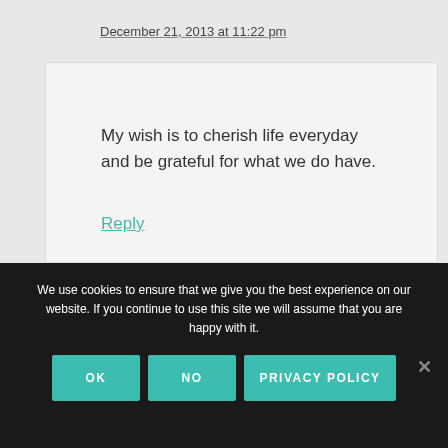December 21, 2013 at 11:22 pm
My wish is to cherish life everyday and be grateful for what we do have.
Reply
We use cookies to ensure that we give you the best experience on our website. If you continue to use this site we will assume that you are happy with it.
OK
NO
PRIVACY POLICY